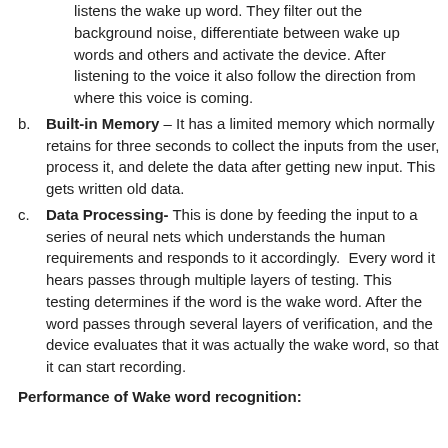listens the wake up word. They filter out the background noise, differentiate between wake up words and others and activate the device. After listening to the voice it also follow the direction from where this voice is coming.
Built-in Memory – It has a limited memory which normally retains for three seconds to collect the inputs from the user, process it, and delete the data after getting new input. This gets written old data.
Data Processing- This is done by feeding the input to a series of neural nets which understands the human requirements and responds to it accordingly.  Every word it hears passes through multiple layers of testing. This testing determines if the word is the wake word. After the word passes through several layers of verification, and the device evaluates that it was actually the wake word, so that it can start recording.
Performance of Wake word recognition: